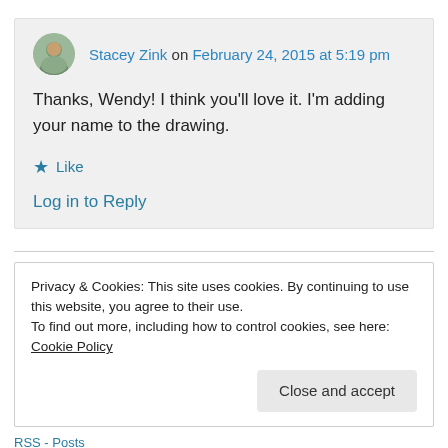Stacey Zink on February 24, 2015 at 5:19 pm
Thanks, Wendy! I think you'll love it. I'm adding your name to the drawing.
Like
Log in to Reply
Privacy & Cookies: This site uses cookies. By continuing to use this website, you agree to their use.
To find out more, including how to control cookies, see here: Cookie Policy
Close and accept
RSS - Posts